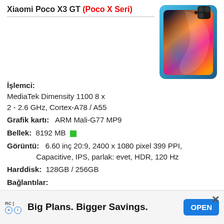Xiaomi Poco X3 GT (Poco X Seri)
[Figure (photo): Xiaomi Poco X3 GT smartphone shown from front and back, in blue color]
İşlemci:
MediaTek Dimensity 1100 8 x
2 - 2.6 GHz, Cortex-A78 / A55
Grafik kartı:  ARM Mali-G77 MP9
Bellek:  8192 MB
Görüntü:  6.60 inç 20:9, 2400 x 1080 pixel 399 PPI,
              Capacitive, IPS, parlak: evet, HDR, 120 Hz
Harddisk:  128GB / 256GB
Bağlantılar:
USB-C Power Delivery (PD), 1 Kızılötesi, 1
Parmak izi okuyucu, NFC, Alıcılar: accelerometer,
gyro, compass, color spectrum, virtual proximity
Networkı:  802.11 a/b/g/n/ac/ax (a/b/g/n = Wi-Fi 4/ac = Wi...